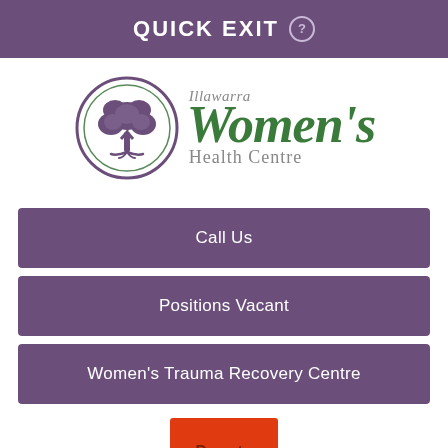QUICK EXIT ?
[Figure (logo): Illawarra Women's Health Centre logo with a tree inside a circle on the left, and stylized text 'Illawarra Women's Health Centre' on the right in green and grey.]
Call Us
Positions Vacant
Women's Trauma Recovery Centre
[Figure (other): Donate Now button in red/orange color]